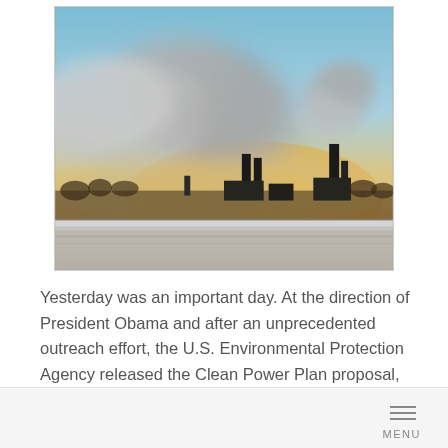[Figure (photo): Industrial factory smokestacks emitting large plumes of smoke against a sunset sky with orange and golden hues, snow on the ground, silhouetted trees and structures in the background.]
Yesterday was an important day. At the direction of President Obama and after an unprecedented outreach effort, the U.S. Environmental Protection Agency released the Clean Power Plan proposal, which for the first time cuts carbon pollution from existing...
MENU